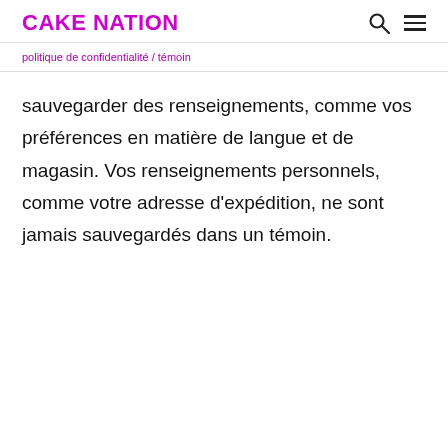CAKE NATION
sauvegarder des renseignements, comme vos préférences en matière de langue et de magasin. Vos renseignements personnels, comme votre adresse d'expédition, ne sont jamais sauvegardés dans un témoin.